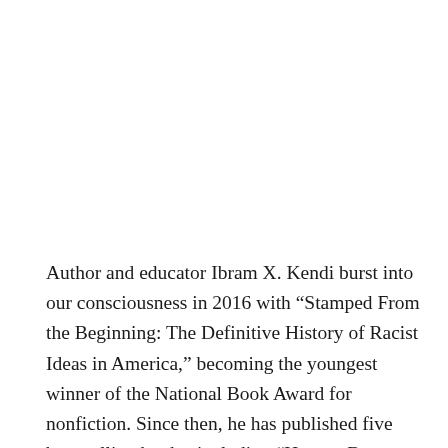Author and educator Ibram X. Kendi burst into our consciousness in 2016 with “Stamped From the Beginning: The Definitive History of Racist Ideas in America,” becoming the youngest winner of the National Book Award for nonfiction. Since then, he has published five best-selling books, including “How to Be an Anti-Racist”, and is a preeminent voice not only for understanding the deep roots of